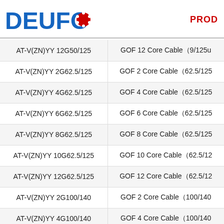[Figure (logo): DEUFO company logo with blue text and red dot icon]
PROD
| AT-V(ZN)YY 12G50/125 | GOF 12 Core Cable(9/125u |
| AT-V(ZN)YY 2G62.5/125 | GOF 2 Core Cable(62.5/125 |
| AT-V(ZN)YY 4G62.5/125 | GOF 4 Core Cable(62.5/125 |
| AT-V(ZN)YY 6G62.5/125 | GOF 6 Core Cable(62.5/125 |
| AT-V(ZN)YY 8G62.5/125 | GOF 8 Core Cable(62.5/125 |
| AT-V(ZN)YY 10G62.5/125 | GOF 10 Core Cable(62.5/12 |
| AT-V(ZN)YY 12G62.5/125 | GOF 12 Core Cable(62.5/12 |
| AT-V(ZN)YY 2G100/140 | GOF 2 Core Cable(100/140 |
| AT-V(ZN)YY 4G100/140 | GOF 4 Core Cable(100/140 |